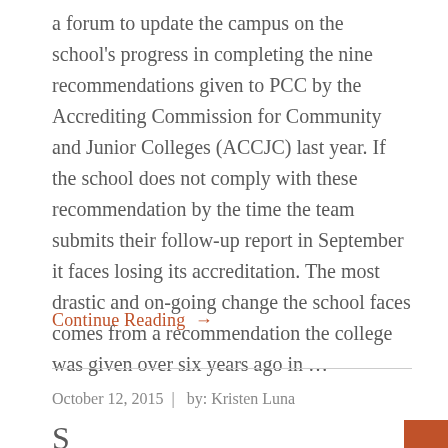a forum to update the campus on the school's progress in completing the nine recommendations given to PCC by the Accrediting Commission for Community and Junior Colleges (ACCJC) last year. If the school does not comply with these recommendation by the time the team submits their follow-up report in September it faces losing its accreditation. The most drastic and on-going change the school faces comes from a recommendation the college was given over six years ago in …
Continue Reading →
October 12, 2015  |  by: Kristen Luna
S